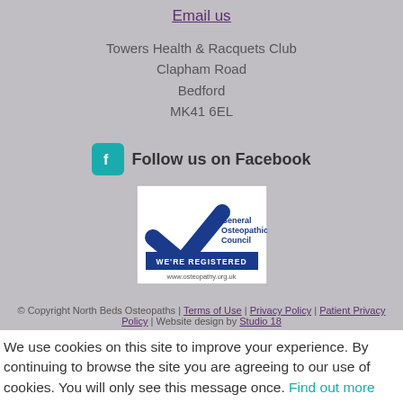Email us
Towers Health & Racquets Club
Clapham Road
Bedford
MK41 6EL
[Figure (logo): Facebook icon with teal background and white 'f' logo, followed by bold text 'Follow us on Facebook']
[Figure (logo): General Osteopathic Council badge with blue checkmark, text 'General Osteopathic Council', dark blue banner 'WE'RE REGISTERED', and url www.osteopathy.org.uk]
© Copyright North Beds Osteopaths | Terms of Use | Privacy Policy | Patient Privacy Policy | Website design by Studio 18
We use cookies on this site to improve your experience. By continuing to browse the site you are agreeing to our use of cookies. You will only see this message once. Find out more